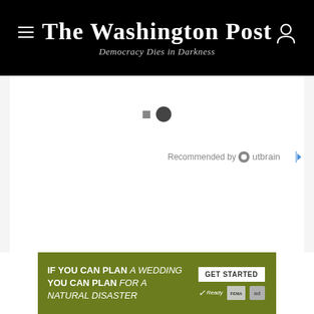The Washington Post — Democracy Dies in Darkness
[Figure (other): Pagination indicator: one small square dot and one large filled circle dot]
Recommended by Outbrain
[Figure (infographic): Advertisement banner: olive/green background. Text reads 'IF YOU CAN PLAN A WEDDING YOU CAN PLAN FOR A NATURAL DISASTER'. Right side has 'GET STARTED' button, Ready checkmark, FEMA logo, and ad badge.]